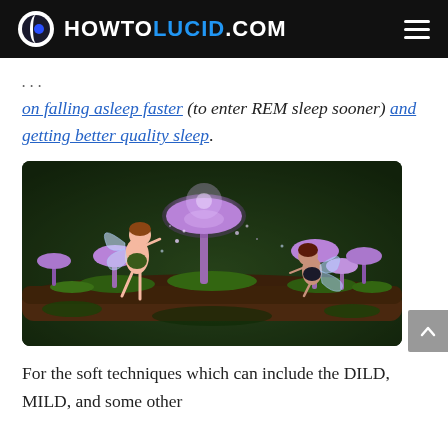HOWTOLUCID.COM
on falling asleep faster (to enter REM sleep sooner) and getting better quality sleep.
[Figure (illustration): Fantasy digital illustration of two fairy characters on a mossy log surrounded by glowing purple mushrooms in a dark forest setting.]
For the soft techniques which can include the DILD, MILD, and some other